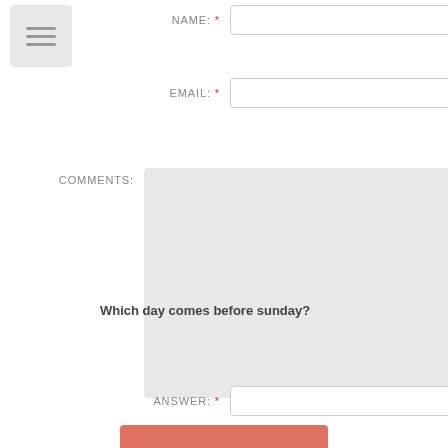[Figure (other): Hamburger menu icon button with three horizontal lines]
NAME: *
EMAIL: *
COMMENTS:
Which day comes before sunday?
ANSWER: *